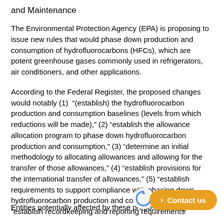and Maintenance
The Environmental Protection Agency (EPA) is proposing to issue new rules that would phase down production and consumption of hydrofluorocarbons (HFCs), which are potent greenhouse gases commonly used in refrigerators, air conditioners, and other applications.
According to the Federal Register, the proposed changes would notably (1) "(establish) the hydrofluorocarbon production and consumption baselines (levels from which reductions will be made)," (2) "establish the allowance allocation program to phase down hydrofluorocarbon production and consumption," (3) "determine an initial methodology to allocating allowances and allowing for the transfer of those allowances," (4) "establish provisions for the international transfer of allowances," (5) "establish requirements to support compliance with phasing down hydrofluorocarbon production and consumption," and (6) "establish recordkeeping and reporting requirements
Entities potentially affected by these proposed changes